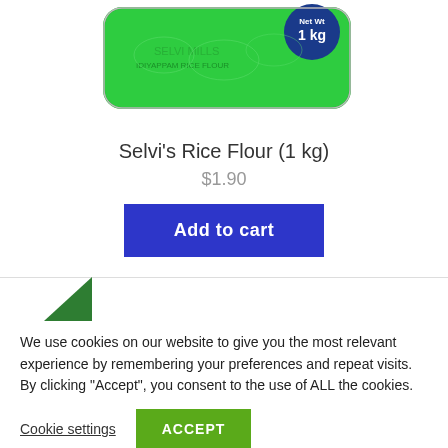[Figure (photo): Product image of Selvi's Rice Flour 1kg green package with Net Wt 1 kg label]
Selvi’s Rice Flour (1 kg)
$1.90
Add to cart
[Figure (other): Green triangle/arrow graphic pointing left]
We use cookies on our website to give you the most relevant experience by remembering your preferences and repeat visits. By clicking “Accept”, you consent to the use of ALL the cookies.
Cookie settings
ACCEPT